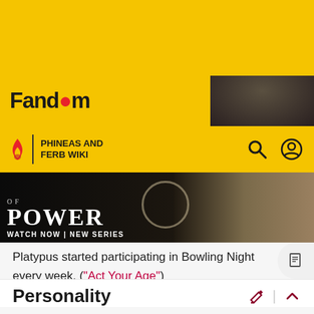[Figure (screenshot): Yellow Fandom website header with logo and close (X) button, partially overlaid by a dark advertisement image]
[Figure (screenshot): Fandom wiki sub-header showing flame icon, divider, PHINEAS AND FERB WIKI text, search icon, and user icon on yellow background]
[Figure (photo): Dark advertisement banner for a TV show 'OF POWER' with 'WATCH NOW | NEW SERIES' text, showing robed figures in a field]
Platypus started participating in Bowling Night every week. ("Act Your Age")
Personality
Carl is punctilious, motivated, and dedicated. He is a bit careless and sometimes forgets to focus the camera, causing Major Monogram to be humiliated during some occasions. In one occasion in particular, Carl accidentally